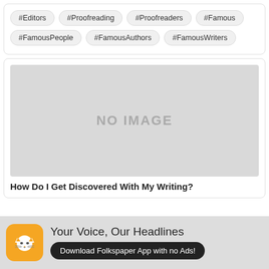#Editors
#Proofreading
#Proofreaders
#Famous
#FamousPeople
#FamousAuthors
#FamousWriters
[Figure (other): Gray placeholder image with text NO IMAGE]
How Do I Get Discovered With My Writing?
Your Voice, Our Headlines
Download Folkspaper App with no Ads!